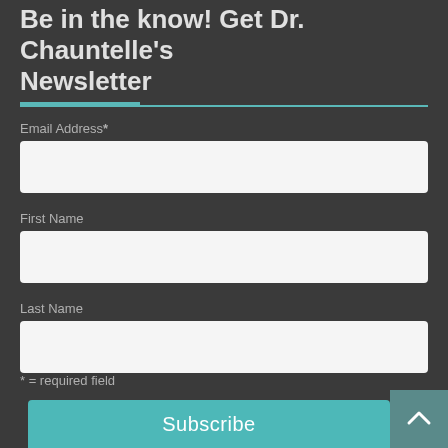Be in the know! Get Dr. Chauntelle's Newsletter
Email Address*
First Name
Last Name
* = required field
Subscribe